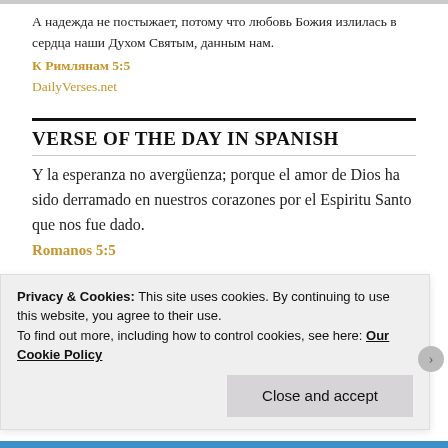А надежда не постыжает, потому что любовь Божия излилась в сердца наши Духом Святым, данным нам.
К Римлянам 5:5
DailyVerses.net
VERSE OF THE DAY IN SPANISH
Y la esperanza no avergüenza; porque el amor de Dios ha sido derramado en nuestros corazones por el Espiritu Santo que nos fue dado.
Romanos 5:5
VERSE OF THE DAY IN FRENCH
Privacy & Cookies: This site uses cookies. By continuing to use this website, you agree to their use.
To find out more, including how to control cookies, see here: Our Cookie Policy
Close and accept